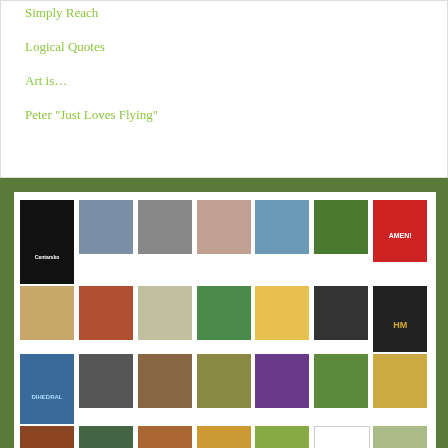Simply Reach
Logical Quotes
Art is…
Peter "Just Loves Flying"
[Figure (photo): Grid of profile/avatar images arranged in a 7-column layout, showing various user profile photos, cartoon avatars, and icons]